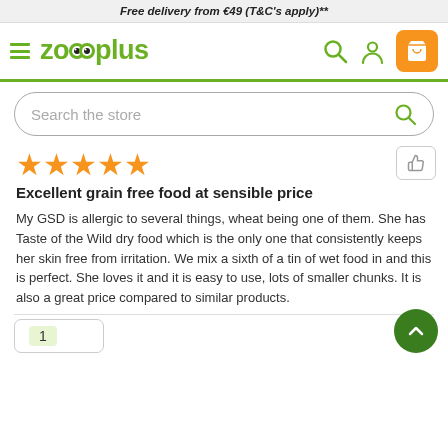Free delivery from €49 (T&C's apply)**
[Figure (logo): zooplus logo with hamburger menu, search icon, account icon, and cart icon in navigation bar]
[Figure (screenshot): Search bar with placeholder 'Search the store' and green search icon]
[Figure (other): Five orange star rating icons]
Excellent grain free food at sensible price
My GSD is allergic to several things, wheat being one of them. She has Taste of the Wild dry food which is the only one that consistently keeps her skin free from irritation. We mix a sixth of a tin of wet food in and this is perfect. She loves it and it is easy to use, lots of smaller chunks. It is also a great price compared to similar products.
1